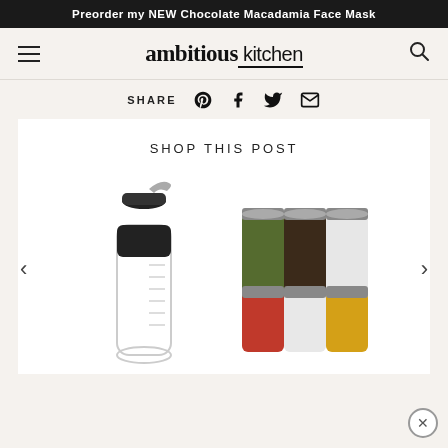Preorder my NEW Chocolate Macadamia Face Mask
[Figure (logo): Ambitious Kitchen logo with hamburger menu and search icon]
SHARE
SHOP THIS POST
[Figure (photo): Product carousel showing a salad dressing shaker bottle and a set of mason jar spices/condiments with navigation arrows]